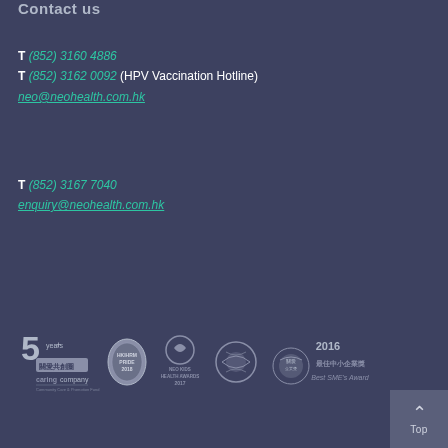Contact us
T (852) 3160 4886
T (852) 3162 0092 (HPV Vaccination Hotline)
neo@neohealth.com.hk
T (852) 3167 7040
enquiry@neohealth.com.hk
[Figure (logo): 5 years+ Caring Company award logo, silver medal award logo, Neo Health Awards 2017 logo, round handshake award seal, 2016 Best SME's Award logo]
Top